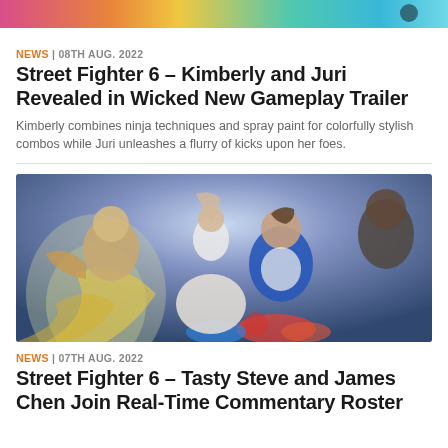[Figure (screenshot): Colorful banner image at the top, partially visible, showing game art with pink, orange, and teal colors]
NEWS | 08TH AUG. 2022
Street Fighter 6 – Kimberly and Juri Revealed in Wicked New Gameplay Trailer
Kimberly combines ninja techniques and spray paint for colorfully stylish combos while Juri unleashes a flurry of kicks upon her foes.
[Figure (photo): Street Fighter 6 promotional art showing multiple fighters in action poses including a man in a blue jacket with gloved hands, a woman in white, a large muscular fighter, and another character in the background]
NEWS | 07TH AUG. 2022
Street Fighter 6 – Tasty Steve and James Chen Join Real-Time Commentary Roster